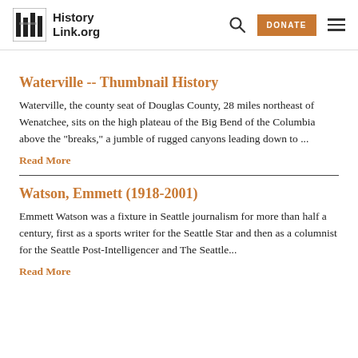HistoryLink.org  [search] DONATE [menu]
Waterville -- Thumbnail History
Waterville, the county seat of Douglas County, 28 miles northeast of Wenatchee, sits on the high plateau of the Big Bend of the Columbia above the "breaks," a jumble of rugged canyons leading down to ...
Read More
Watson, Emmett (1918-2001)
Emmett Watson was a fixture in Seattle journalism for more than half a century, first as a sports writer for the Seattle Star and then as a columnist for the Seattle Post-Intelligencer and The Seattle...
Read More